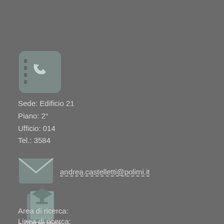[Figure (illustration): Phone/contact book icon, rounded square with handset symbol, gray tones]
Sede: Edificio 21
Piano: 2°
Ufficio: 014
Tel.: 3584
[Figure (illustration): Envelope/email icon, gray tones]
andrea.castelletti@polimi.it
[Figure (illustration): Graduation cap on document/book icon, gray tones]
Area di ricerca:
» Automatica
Linea di ricerca: